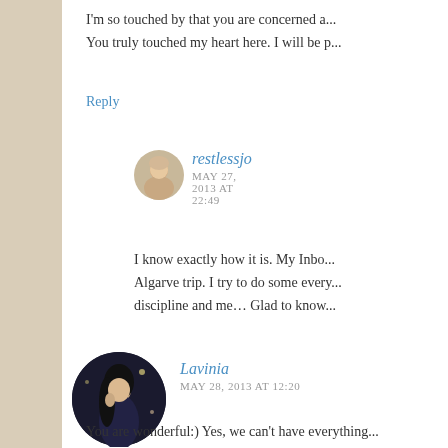I'm so touched by that you are concerned a... You truly touched my heart here. I will be p...
Reply
restlessjo
MAY 27, 2013 AT 22:49
I know exactly how it is. My Inbox... Algarve trip. I try to do some every... discipline and me… Glad to know...
[Figure (photo): Round avatar photo of restlessjo commenter]
Lavinia
MAY 28, 2013 AT 12:20
[Figure (photo): Round avatar photo of Lavinia commenter]
You are wonderful:) Yes, we can't have everything...